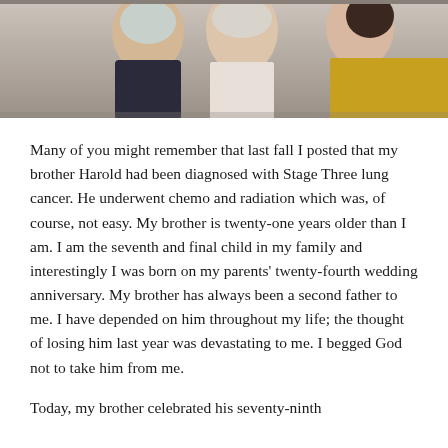[Figure (photo): Partial photograph showing three people, cropped at the top of the page. Two people on the left appear older, one person on the right wears a yellow top.]
Many of you might remember that last fall I posted that my brother Harold had been diagnosed with Stage Three lung cancer. He underwent chemo and radiation which was, of course, not easy. My brother is twenty-one years older than I am. I am the seventh and final child in my family and interestingly I was born on my parents' twenty-fourth wedding anniversary. My brother has always been a second father to me. I have depended on him throughout my life; the thought of losing him last year was devastating to me. I begged God not to take him from me.
Today, my brother celebrated his seventy-ninth